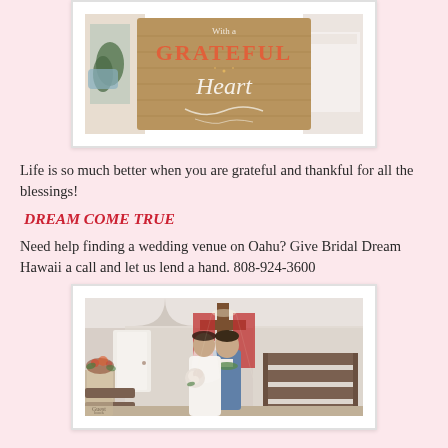[Figure (photo): Bride and groom holding a wooden sign that reads 'With a Grateful Heart']
Life is so much better when you are grateful and thankful for all the blessings!
DREAM COME TRUE
Need help finding a wedding venue on Oahu? Give Bridal Dream Hawaii a call and let us lend a hand. 808-924-3600
[Figure (photo): Bride and groom standing inside a church chapel with a cross and red draping in the background, pews on either side]